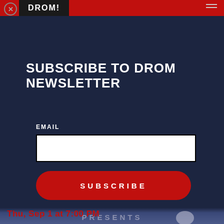DROM
SUBSCRIBE TO DROM NEWSLETTER
EMAIL
SUBSCRIBE
PRESENTS
Thu, Sep 1 at 7:00 PM